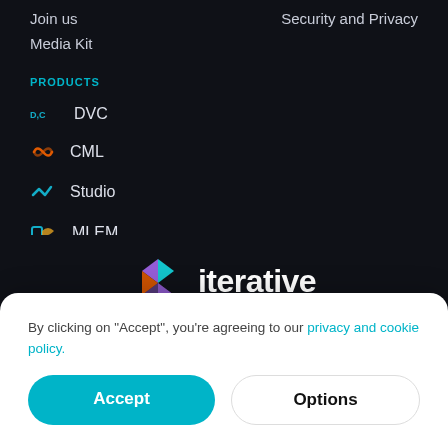Join us
Security and Privacy
Media Kit
PRODUCTS
DVC
CML
Studio
MLEM
VS Code Extension
[Figure (logo): Iterative logo — a diamond-shaped icon with teal, purple, and orange segments, followed by the word 'iterative' in white bold text]
By clicking on "Accept", you're agreeing to our privacy and cookie policy.
Accept
Options